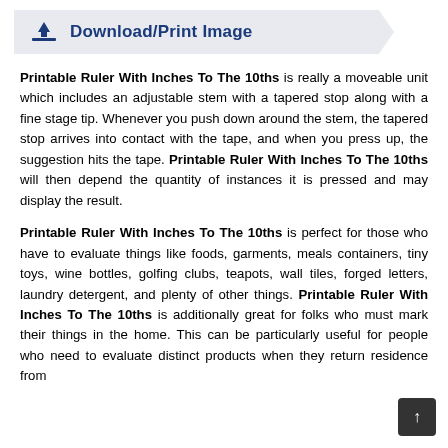Download/Print Image
Printable Ruler With Inches To The 10ths is really a moveable unit which includes an adjustable stem with a tapered stop along with a fine stage tip. Whenever you push down around the stem, the tapered stop arrives into contact with the tape, and when you press up, the suggestion hits the tape. Printable Ruler With Inches To The 10ths will then depend the quantity of instances it is pressed and may display the result.
Printable Ruler With Inches To The 10ths is perfect for those who have to evaluate things like foods, garments, meals containers, tiny toys, wine bottles, golfing clubs, teapots, wall tiles, forged letters, laundry detergent, and plenty of other things. Printable Ruler With Inches To The 10ths is additionally great for folks who must mark their things in the home. This can be particularly useful for people who need to evaluate distinct products when they return residence from